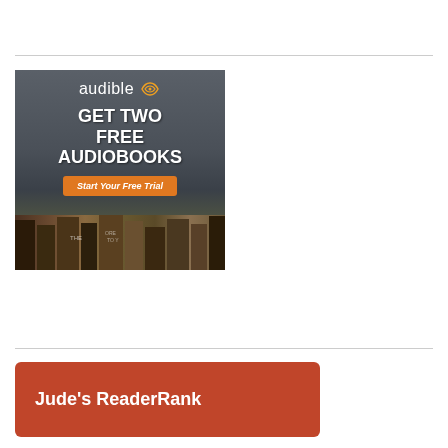[Figure (advertisement): Audible advertisement banner: dark background with books, white text 'GET TWO FREE AUDIOBOOKS', orange button 'Start Your Free Trial', audible logo with WiFi/headphone icon at top]
Jude's ReaderRank